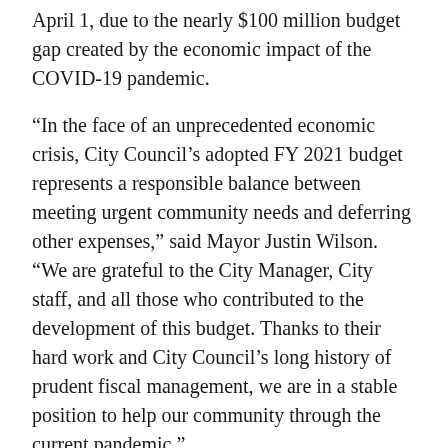April 1, due to the nearly $100 million budget gap created by the economic impact of the COVID-19 pandemic.
“In the face of an unprecedented economic crisis, City Council’s adopted FY 2021 budget represents a responsible balance between meeting urgent community needs and deferring other expenses,” said Mayor Justin Wilson. “We are grateful to the City Manager, City staff, and all those who contributed to the development of this budget. Thanks to their hard work and City Council’s long history of prudent fiscal management, we are in a stable position to help our community through the current pandemic.”
The approved budget, which represents a 1.6% decrease from the FY 2020 budget, focuses on continuing the City’s record of prudent fiscal management; relieving some of the burden on taxpayers and delivering core services to the community.